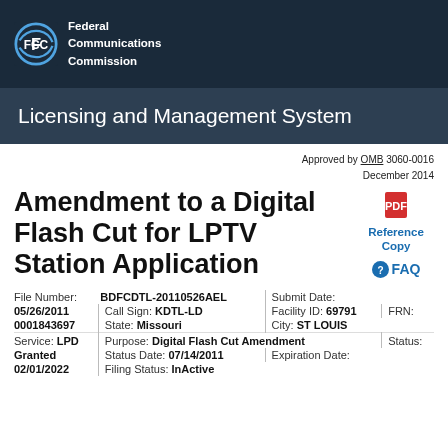Federal Communications Commission
Licensing and Management System
Approved by OMB 3060-0016
December 2014
Amendment to a Digital Flash Cut for LPTV Station Application
[Figure (logo): Reference Copy icon with PDF logo]
Reference Copy
FAQ
| File Number: | BDFCDTL-20110526AEL | | | Submit Date: |  |
| 05/26/2011 | | | Call Sign: | KDTL-LD | | | Facility ID: | 69791 | | | FRN: |
| 0001843697 | | | State: | Missouri | | | City: | ST LOUIS |
| Service: | LPD | | | Purpose: | Digital Flash Cut Amendment | | | Status: |
| Granted | | | Status Date: | 07/14/2011 | | | Expiration Date: |
| 02/01/2022 | | | Filing Status: | InActive |